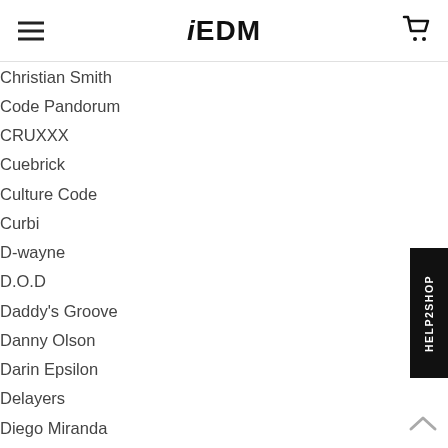iEDM
Christian Smith
Code Pandorum
CRUXXX
Cuebrick
Culture Code
Curbi
D-wayne
D.O.D
Daddy's Groove
Danny Olson
Darin Epsilon
Delayers
Diego Miranda
Digression
Dirty Ducks
Dirtywork
DJ AniMe
DJ FEEL
Dope Arcade
Downlow'd